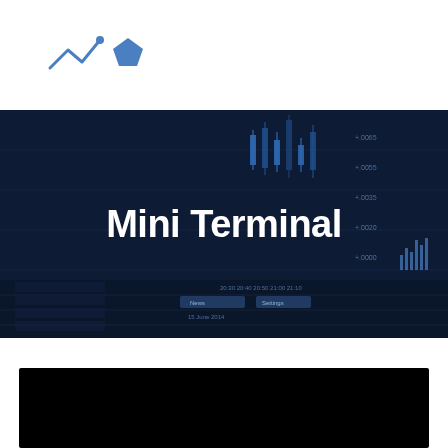[Figure (logo): Two blue icons: a line/check chart icon on the left and a pentagon shape on the right]
[Figure (screenshot): Dark blue background showing a trading terminal with candlestick chart, price grid, and trading interface. Large white bold text reads 'Mini Terminal' centered over the image.]
Mini Terminal
[Figure (screenshot): Black rectangle at the bottom of the page, partial view of a screenshot]